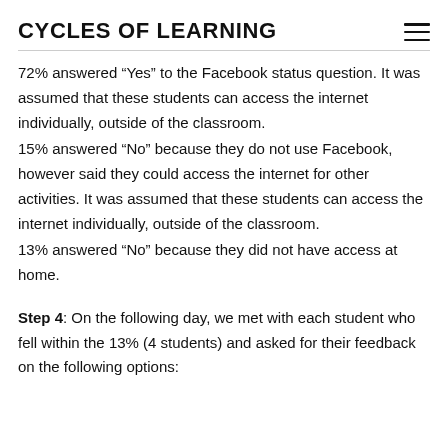CYCLES OF LEARNING
72% answered “Yes” to the Facebook status question. It was assumed that these students can access the internet individually, outside of the classroom.
15% answered “No” because they do not use Facebook, however said they could access the internet for other activities. It was assumed that these students can access the internet individually, outside of the classroom.
13% answered “No” because they did not have access at home.
Step 4: On the following day, we met with each student who fell within the 13% (4 students) and asked for their feedback on the following options: